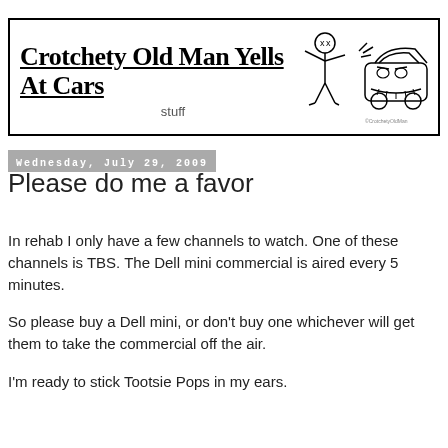[Figure (illustration): Blog header banner with title 'Crotchety Old Man Yells At Cars' and subtitle 'stuff', with a cartoon drawing of a stick figure yelling at an angry-faced car]
Wednesday, July 29, 2009
Please do me a favor
In rehab I only have a few channels to watch. One of these channels is TBS. The Dell mini commercial is aired every 5 minutes.
So please buy a Dell mini, or don't buy one whichever will get them to take the commercial off the air.
I'm ready to stick Tootsie Pops in my ears.